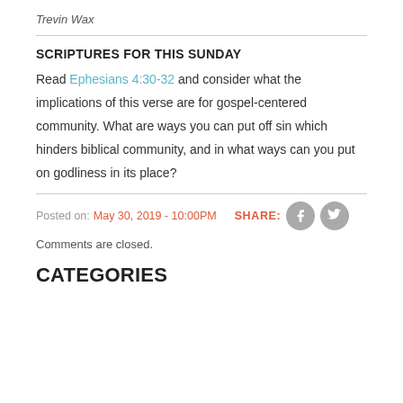Trevin Wax
SCRIPTURES FOR THIS SUNDAY
Read Ephesians 4:30-32 and consider what the implications of this verse are for gospel-centered community. What are ways you can put off sin which hinders biblical community, and in what ways can you put on godliness in its place?
Posted on: May 30, 2019 - 10:00PM   SHARE:
Comments are closed.
CATEGORIES